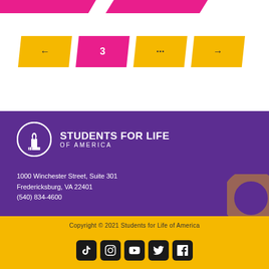[Figure (infographic): Pagination bar with gold and pink parallelogram-shaped buttons: back arrow, page 3 (active/pink), ellipsis, forward arrow]
[Figure (logo): Students for Life of America logo: white circle with candle/torch icon on purple background]
1000 Winchester Street, Suite 301
Fredericksburg, VA 22401
(540) 834-4600
Copyright © 2021 Students for Life of America
[Figure (infographic): Row of 5 social media icons (TikTok, Instagram, YouTube, Twitter, Facebook) on dark circular/rounded backgrounds]